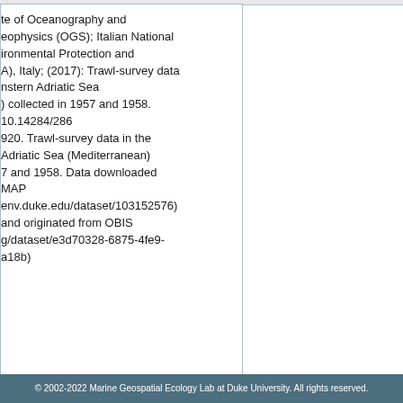te of Oceanography and eophysics (OGS); Italian National ironmental Protection and A), Italy; (2017): Trawl-survey data nstern Adriatic Sea ) collected in 1957 and 1958. 10.14284/286 920. Trawl-survey data in the Adriatic Sea (Mediterranean) 7 and 1958. Data downloaded MAP env.duke.edu/dataset/103152576) and originated from OBIS g/dataset/e3d70328-6875-4fe9- a18b)
th 1957 and July 4th 1958 a series were organised by the Institute of and Fisheries (IOF, Croatia) in the s around the Hvar Island
© 2002-2022 Marine Geospatial Ecology Lab at Duke University. All rights reserved.